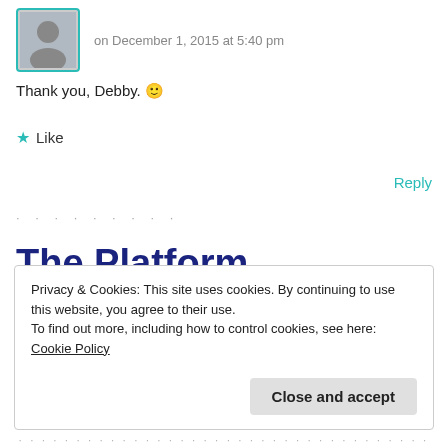on December 1, 2015 at 5:40 pm
Thank you, Debby. 🙂
★ Like
Reply
·········
The Platform Where WordPress Works Best
Privacy & Cookies: This site uses cookies. By continuing to use this website, you agree to their use.
To find out more, including how to control cookies, see here: Cookie Policy
Close and accept